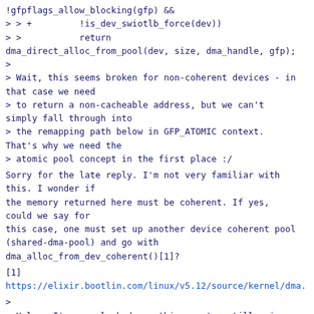!gfpflags_allow_blocking(gfp) &&
> > +         !is_dev_swiotlb_force(dev))
> >           return dma_direct_alloc_from_pool(dev, size, dma_handle, gfp);
>
> Wait, this seems broken for non-coherent devices - in that case we need
> to return a non-cacheable address, but we can't simply fall through into
> the remapping path below in GFP_ATOMIC context. That's why we need the
> atomic pool concept in the first place :/
Sorry for the late reply. I'm not very familiar with this. I wonder if
the memory returned here must be coherent. If yes, could we say for
this case, one must set up another device coherent pool (shared-dma-pool) and go with
dma_alloc_from_dev_coherent()[1]?
[1]
https://elixir.bootlin.com/linux/v5.12/source/kernel/dma.
>
> Unless I've overlooked something, we're still using the regular
> cacheable linear map address of the dma_io_tlb_mem buffer, no?
>